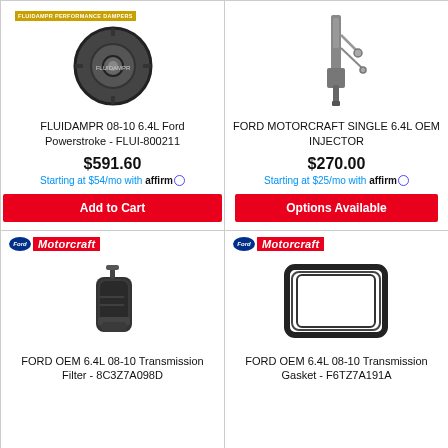[Figure (photo): FLUIDAMPR harmonic balancer / damper pulley product image with small banner label at top]
FLUIDAMPR 08-10 6.4L Ford Powerstroke - FLUI-800211
$591.60
Starting at $54/mo with affirm
Add to Cart
[Figure (photo): Ford Motorcraft single fuel injector product image]
FORD MOTORCRAFT SINGLE 6.4L OEM INJECTOR
$270.00
Starting at $25/mo with affirm
Options Available
[Figure (logo): Motorcraft brand logo with Ford oval]
[Figure (photo): Ford OEM transmission filter product image]
FORD OEM 6.4L 08-10 Transmission Filter - 8C3Z7A098D
[Figure (logo): Motorcraft brand logo with Ford oval]
[Figure (photo): Ford OEM transmission gasket product image]
FORD OEM 6.4L 08-10 Transmission Gasket - F6TZ7A191A